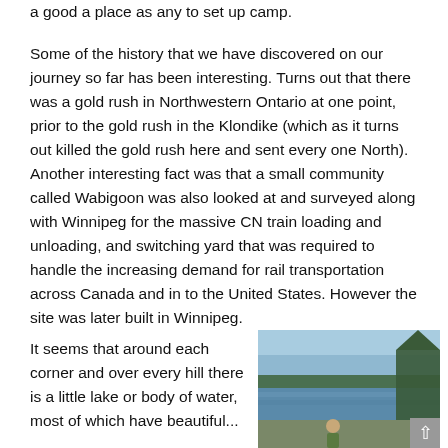a good a place as any to set up camp.
Some of the history that we have discovered on our journey so far has been interesting. Turns out that there was a gold rush in Northwestern Ontario at one point, prior to the gold rush in the Klondike (which as it turns out killed the gold rush here and sent every one North). Another interesting fact was that a small community called Wabigoon was also looked at and surveyed along with Winnipeg for the massive CN train loading and unloading, and switching yard that was required to handle the increasing demand for rail transportation across Canada and in to the United States. However the site was later built in Winnipeg.
It seems that around each corner and over every hill there is a little lake or body of water, most of which have beautiful...
[Figure (photo): A person standing near a lake or body of water with trees in the background and blue sky above.]